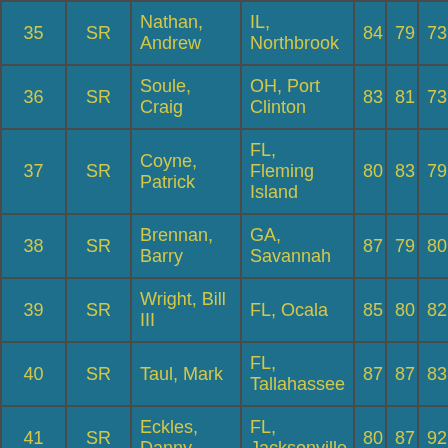| # | Class | Name | Hometown | R1 | R2 | R3 |
| --- | --- | --- | --- | --- | --- | --- |
| 35 | SR | Nathan, Andrew | IL, Northbrook | 84 | 79 | 73 |
| 36 | SR | Soule, Craig | OH, Port Clinton | 83 | 81 | 73 |
| 37 | SR | Coyne, Patrick | FL, Fleming Island | 80 | 83 | 79 |
| 38 | SR | Brennan, Barry | GA, Savannah | 87 | 79 | 80 |
| 39 | SR | Wright, Bill III | FL, Ocala | 85 | 80 | 82 |
| 40 | SR | Taul, Mark | FL, Tallahassee | 87 | 87 | 83 |
| 41 | SR | Eckles, Danny | FL, Jacksonville | 80 | 87 | 92 |
| 42 | SR | McCabe, T... | FL, Tal... | 96 | 87 | 83 |